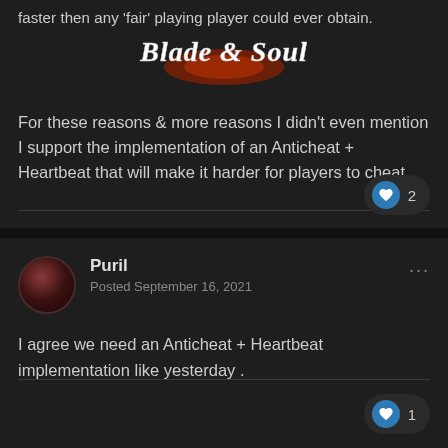faster then any 'fair' playing player could ever obtain.
[Figure (logo): Blade & Soul game logo in white script with red/orange flame decoration]
For these reasons & more reasons I didn't even mention I support the implementation of an Anticheat + Heartbeat that will make it harder for players to cheat.
2
Puril
Posted September 16, 2021
I agree we need an Anticheat + Heartbeat implementation like yesterday .
1